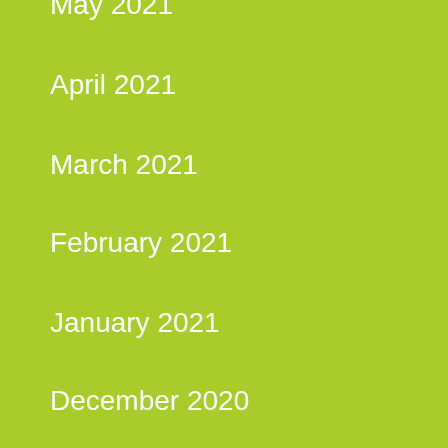May 2021
April 2021
March 2021
February 2021
January 2021
December 2020
November 2020
October 2020
September 2020